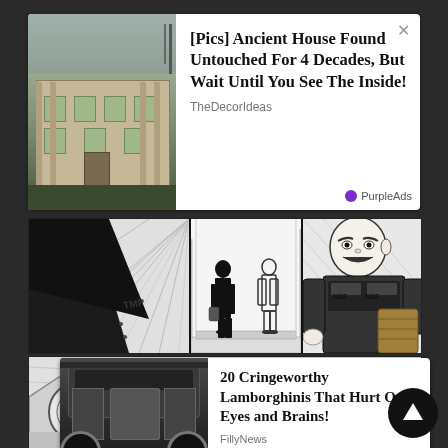[Figure (screenshot): Advertisement card: photo of old abandoned house, title '[Pics] Ancient House Found Untouched For 4 Decades, But Wait Until You See The Inside!', source 'TheDecorIdeas', badge 'PurpleAds']
[Figure (illustration): Manga comic panels (top): three panels showing action scene with speed lines and text 'TMP', figures standing, and a large man in a vest]
[Figure (illustration): Manga comic panel (bottom): car close-up with speed lines and sound effect 'SKREE']
[Figure (screenshot): Advertisement card: photo of Lamborghini engine/rear view, title '20 Cringeworthy Lamborghinis That Hurt Our Eyes and Brains!', source 'FillyNews', badge 'PurpleAds']